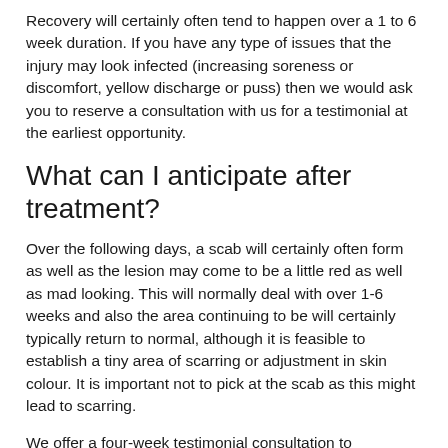Recovery will certainly often tend to happen over a 1 to 6 week duration. If you have any type of issues that the injury may look infected (increasing soreness or discomfort, yellow discharge or puss) then we would ask you to reserve a consultation with us for a testimonial at the earliest opportunity.
What can I anticipate after treatment?
Over the following days, a scab will certainly often form as well as the lesion may come to be a little red as well as mad looking. This will normally deal with over 1-6 weeks and also the area continuing to be will certainly typically return to normal, although it is feasible to establish a tiny area of scarring or adjustment in skin colour. It is important not to pick at the scab as this might lead to scarring.
We offer a four-week testimonial consultation to guarantee that the preferred outcome has been achieved. At this follow-up consultation, an extra top up can be carried out if